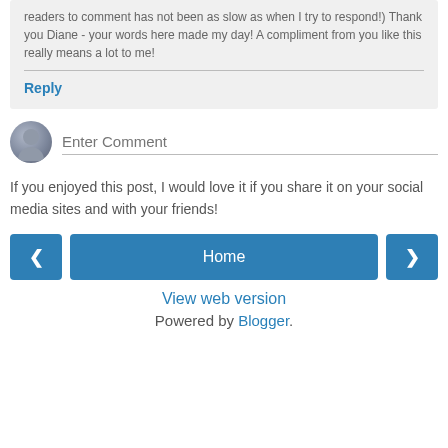readers to comment has not been as slow as when I try to respond!) Thank you Diane - your words here made my day! A compliment from you like this really means a lot to me!
Reply
[Figure (other): Comment input field with generic user avatar icon and 'Enter Comment' placeholder text]
If you enjoyed this post, I would love it if you share it on your social media sites and with your friends!
[Figure (other): Navigation buttons: left arrow button, Home button, right arrow button]
View web version
Powered by Blogger.